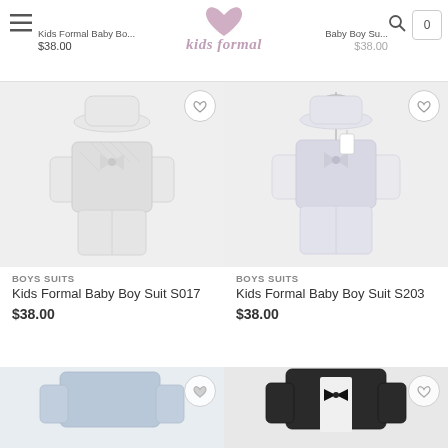Kids Formal Baby Boy Suit S017 $38.00 | Kids Formal | Baby Boy Suit $38.00
[Figure (screenshot): Kids Formal website header with hamburger menu icon, heart logo, brand name 'kids formal' in pink cursive, search icon, and cart icon showing 0 items]
[Figure (photo): Kids Formal Baby Boy Suit S017 - white/ivory short sleeve baby boy suit with quilted vest, bow tie, shorts and matching hat on hanger]
BOYS SUITS
Kids Formal Baby Boy Suit S017
$38.00
[Figure (photo): Kids Formal Baby Boy Suit S203 - white/light purple short sleeve baby boy suit with vest, bow tie, shorts and matching hat on hanger]
BOYS SUITS
Kids Formal Baby Boy Suit S203
$38.00
[Figure (photo): Partial view of a blue/grey baby suit at bottom left]
[Figure (photo): Partial view of a black tuxedo suit at bottom right]